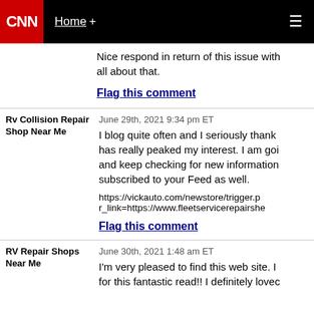CNN | Home +
Nice respond in return of this issue with all about that.
Flag this comment
Rv Collision Repair Shop Near Me
June 29th, 2021 9:34 pm ET
I blog quite often and I seriously thank has really peaked my interest. I am goi and keep checking for new information subscribed to your Feed as well.
https://vickauto.com/newstore/trigger.p r_link=https://www.fleetservicerepairshe
Flag this comment
RV Repair Shops Near Me
June 30th, 2021 1:48 am ET
I'm very pleased to find this web site. I for this fantastic read!! I definitely lovec